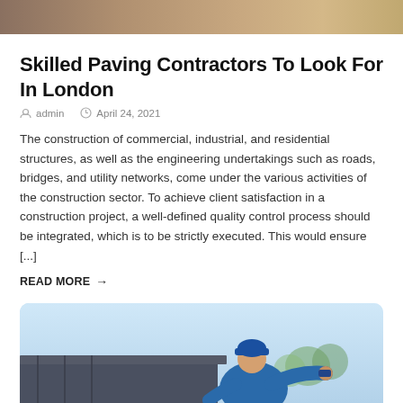[Figure (photo): Partial top image of a construction/paving scene, cropped at top of page]
Skilled Paving Contractors To Look For In London
admin   April 24, 2021
The construction of commercial, industrial, and residential structures, as well as the engineering undertakings such as roads, bridges, and utility networks, come under the various activities of the construction sector. To achieve client satisfaction in a construction project, a well-defined quality control process should be integrated, which is to be strictly executed. This would ensure [...]
READ MORE →
[Figure (photo): Photo of a worker in blue uniform and cap working on a roof or metal structure against a blue sky background]